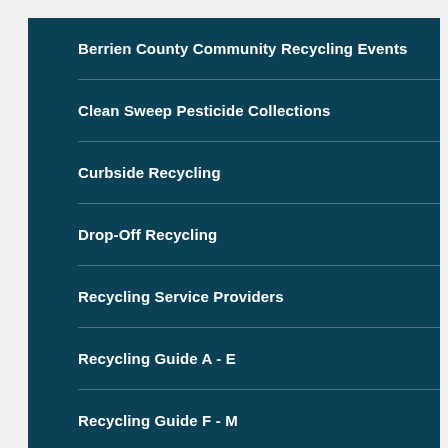Berrien County Community Recycling Events
Clean Sweep Pesticide Collections
Curbside Recycling
Drop-Off Recycling
Recycling Service Providers
Recycling Guide A - E
Recycling Guide F - M